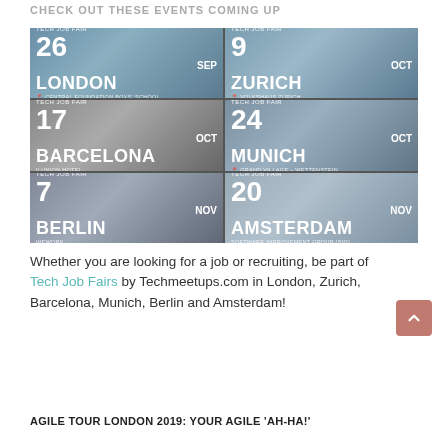CHECK OUT THESE EVENTS COMING UP
[Figure (infographic): Grid of 6 Tech Job Fair event banners: London 26 Sep, Zurich 9 Oct, Barcelona 17 Oct, Munich 24 Oct, Berlin 7 Nov, Amsterdam 20 Nov]
Whether you are looking for a job or recruiting, be part of Tech Job Fairs by Techmeetups.com in London, Zurich, Barcelona, Munich, Berlin and Amsterdam!
AGILE TOUR LONDON 2019: YOUR AGILE 'AH-HA!'